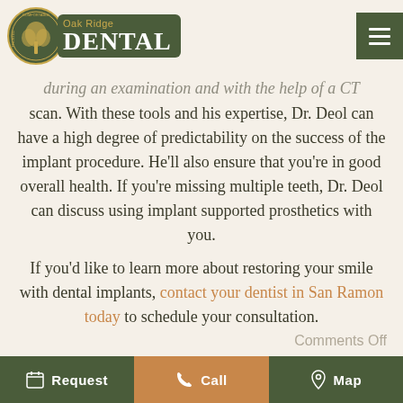[Figure (logo): Oak Ridge Dental logo with circular tree emblem and text on dark green background]
during an examination and with the help of a CT scan. With these tools and his expertise, Dr. Deol can have a high degree of predictability on the success of the implant procedure. He'll also ensure that you're in good overall health. If you're missing multiple teeth, Dr. Deol can discuss using implant supported prosthetics with you.
If you'd like to learn more about restoring your smile with dental implants, contact your dentist in San Ramon today to schedule your consultation.
Comments Off
Request  Call  Map